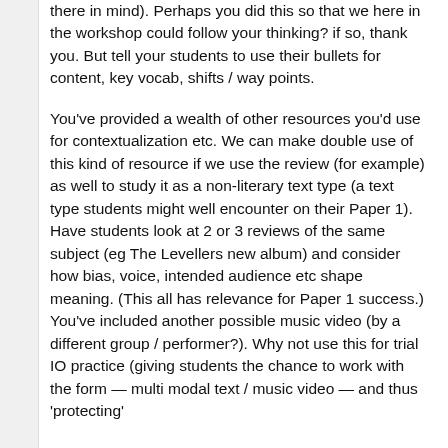there in mind). Perhaps you did this so that we here in the workshop could follow your thinking? if so, thank you. But tell your students to use their bullets for content, key vocab, shifts / way points.
You've provided a wealth of other resources you'd use for contextualization etc. We can make double use of this kind of resource if we use the review (for example) as well to study it as a non-literary text type (a text type students might well encounter on their Paper 1). Have students look at 2 or 3 reviews of the same subject (eg The Levellers new album) and consider how bias, voice, intended audience etc shape meaning. (This all has relevance for Paper 1 success.) You've included another possible music video (by a different group / performer?). Why not use this for trial IO practice (giving students the chance to work with the form — multi modal text / music video — and thus 'protecting'